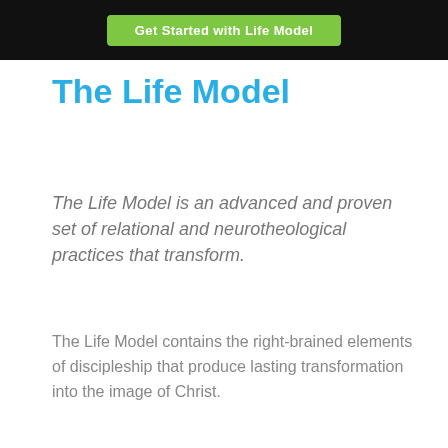Get Started with Life Model
The Life Model
The Life Model is an advanced and proven set of relational and neurotheological practices that transform.
The Life Model contains the right-brained elements of discipleship that produce lasting transformation into the image of Christ.